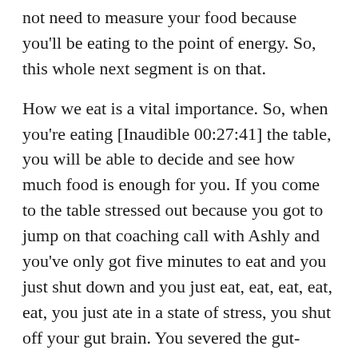not need to measure your food because you'll be eating to the point of energy. So, this whole next segment is on that.
How we eat is a vital importance. So, when you're eating [Inaudible 00:27:41] the table, you will be able to decide and see how much food is enough for you. If you come to the table stressed out because you got to jump on that coaching call with Ashly and you've only got five minutes to eat and you just shut down and you just eat, eat, eat, eat, eat, you just ate in a state of stress, you shut off your gut brain. You severed the gut-brain, head-brain connection and you could overeat in that fast last five minutes. Can you believe that?
You can overeat in five minutes but shoveling down the food in a stressed state. Your body does not operate that way. Our bodies were designed to go slow when we eat,